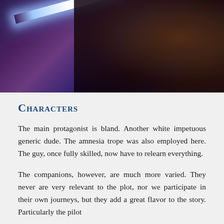[Figure (photo): Dark action scene with a blue lightsaber beam cutting diagonally across a dark purple/blue background, with a dark armored figure visible on the right side.]
Characters
The main protagonist is bland. Another white impetuous generic dude. The amnesia trope was also employed here. The guy, once fully skilled, now have to relearn everything.
The companions, however, are much more varied. They never are very relevant to the plot, nor we participate in their own journeys, but they add a great flavor to the story. Particularly the pilot